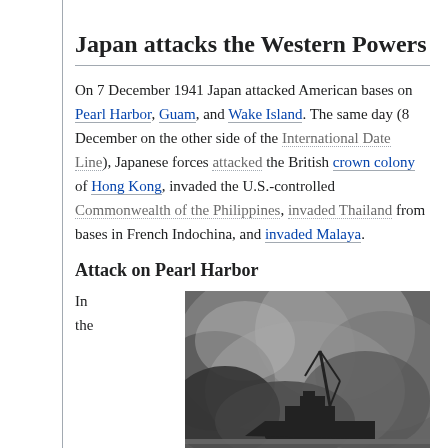Japan attacks the Western Powers
On 7 December 1941 Japan attacked American bases on Pearl Harbor, Guam, and Wake Island. The same day (8 December on the other side of the International Date Line), Japanese forces attacked the British crown colony of Hong Kong, invaded the U.S.-controlled Commonwealth of the Philippines, invaded Thailand from bases in French Indochina, and invaded Malaya.
Attack on Pearl Harbor
In the
[Figure (photo): Black and white photograph showing a ship with masts and cranes silhouetted against billowing smoke clouds, likely depicting the attack on Pearl Harbor.]